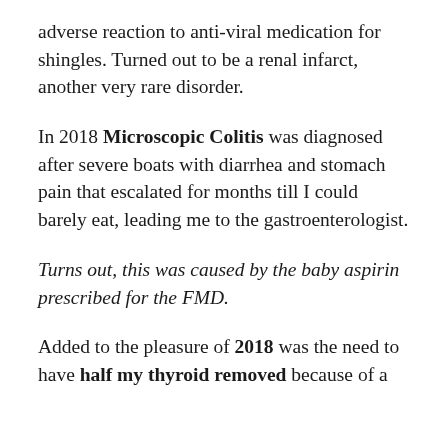adverse reaction to anti-viral medication for shingles. Turned out to be a renal infarct, another very rare disorder.
In 2018 Microscopic Colitis was diagnosed after severe boats with diarrhea and stomach pain that escalated for months till I could barely eat, leading me to the gastroenterologist.
Turns out, this was caused by the baby aspirin prescribed for the FMD.
Added to the pleasure of 2018 was the need to have half my thyroid removed because of a